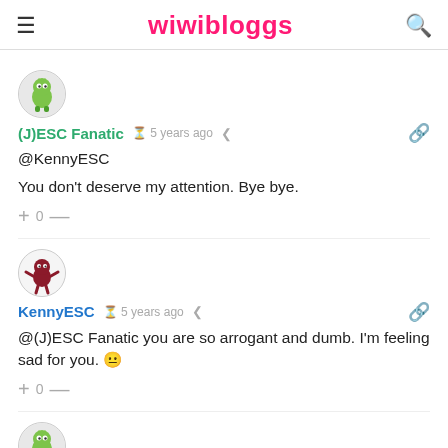wiwibloggs
[Figure (illustration): Avatar of (J)ESC Fanatic: cartoon green monster character in a circle]
(J)ESC Fanatic  5 years ago
@KennyESC

You don't deserve my attention. Bye bye.
+ 0 —
[Figure (illustration): Avatar of KennyESC: cartoon dark red character with arms out in a circle]
KennyESC  5 years ago
@(J)ESC Fanatic you are so arrogant and dumb. I'm feeling sad for you. 😐
+ 0 —
[Figure (illustration): Avatar of (J)ESC Fanatic again at bottom: cartoon green monster character in a circle]